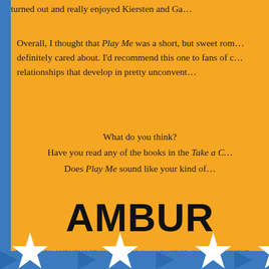turned out and really enjoyed Kiersten and Ga...
Overall, I thought that Play Me was a short, but sweet rom... definitely cared about. I'd recommend this one to fans of c... relationships that develop in pretty unconvent...
What do you think?
Have you read any of the books in the Take a C... series?
Does Play Me sound like your kind of...
AMBUR
POSTED BY AMBURHOSTYN AT TUESDAY, AUGUST 27, 2013  0 COMMENT...
[Figure (illustration): Bottom decoration with blue bar and white star shapes]